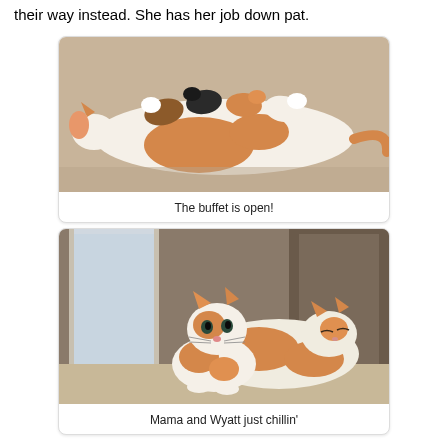their way instead. She has her job down pat.
[Figure (photo): A mother cat lying on her side on a carpet nursing several kittens of various colors (calico, black, orange/white).]
The buffet is open!
[Figure (photo): An orange and white kitten and a larger orange and white adult cat resting together on a beige surface, looking at the camera.]
Mama and Wyatt just chillin'